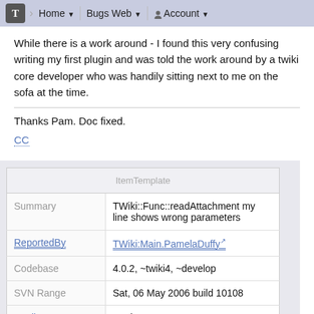T | Home ▼ | Bugs Web ▼ | Account ▼
While there is a work around - I found this very confusing writing my first plugin and was told the work around by a twiki core developer who was handily sitting next to me on the sofa at the time.
Thanks Pam. Doc fixed.
CC
| ItemTemplate |
| --- |
| Summary | TWiki::Func::readAttachment my line shows wrong parameters |
| ReportedBy | TWiki:Main.PamelaDuffy |
| Codebase | 4.0.2, ~twiki4, ~develop |
| SVN Range | Sat, 06 May 2006 build 10108 |
| AppliesTo | Engine |